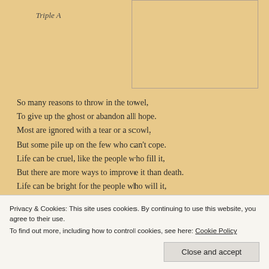Triple A
So many reasons to throw in the towel,
To give up the ghost or abandon all hope.
Most are ignored with a tear or a scowl,
But some pile up on the few who can’t cope.
Life can be cruel, like the people who fill it,
But there are more ways to improve it than death.
Life can be bright for the people who will it,
Who see all the reasons to take their next breath.
Privacy & Cookies: This site uses cookies. By continuing to use this website, you agree to their use.
To find out more, including how to control cookies, see here: Cookie Policy
Close and accept